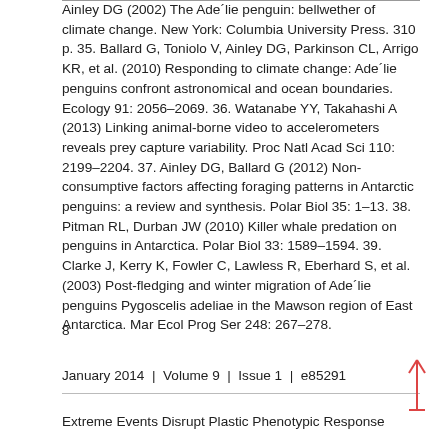Ainley DG (2002) The Ade´lie penguin: bellwether of climate change. New York: Columbia University Press. 310 p. 35. Ballard G, Toniolo V, Ainley DG, Parkinson CL, Arrigo KR, et al. (2010) Responding to climate change: Ade´lie penguins confront astronomical and ocean boundaries. Ecology 91: 2056–2069. 36. Watanabe YY, Takahashi A (2013) Linking animal-borne video to accelerometers reveals prey capture variability. Proc Natl Acad Sci 110: 2199–2204. 37. Ainley DG, Ballard G (2012) Non-consumptive factors affecting foraging patterns in Antarctic penguins: a review and synthesis. Polar Biol 35: 1–13. 38. Pitman RL, Durban JW (2010) Killer whale predation on penguins in Antarctica. Polar Biol 33: 1589–1594. 39. Clarke J, Kerry K, Fowler C, Lawless R, Eberhard S, et al. (2003) Post-fledging and winter migration of Ade´lie penguins Pygoscelis adeliae in the Mawson region of East Antarctica. Mar Ecol Prog Ser 248: 267–278.
8
January 2014 | Volume 9 | Issue 1 | e85291
Extreme Events Disrupt Plastic Phenotypic Response